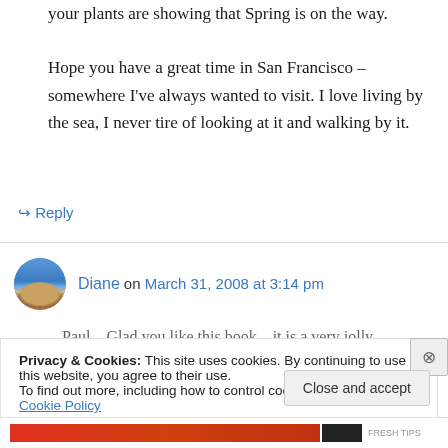your plants are showing that Spring is on the way.

Hope you have a great time in San Francisco – somewhere I've always wanted to visit. I love living by the sea, I never tire of looking at it and walking by it.
↳ Reply
Diane on March 31, 2008 at 3:14 pm
Paul – Glad you like this book – it is a very jolly
Privacy & Cookies: This site uses cookies. By continuing to use this website, you agree to their use.
To find out more, including how to control cookies, see here: Cookie Policy
Close and accept